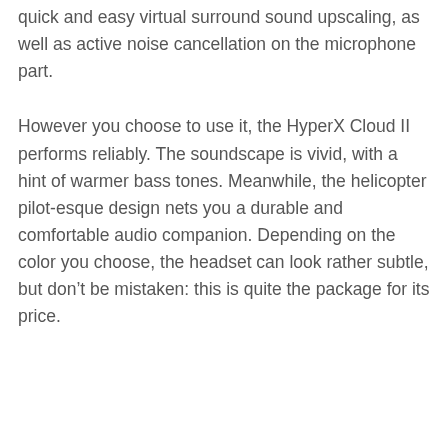quick and easy virtual surround sound upscaling, as well as active noise cancellation on the microphone part.
However you choose to use it, the HyperX Cloud II performs reliably. The soundscape is vivid, with a hint of warmer bass tones. Meanwhile, the helicopter pilot-esque design nets you a durable and comfortable audio companion. Depending on the color you choose, the headset can look rather subtle, but don't be mistaken: this is quite the package for its price.